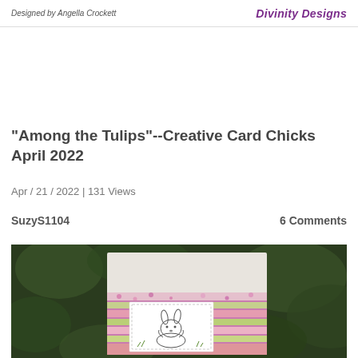Designed by Angella Crockett | Divinity Designs
"Among the Tulips"--Creative Card Chicks April 2022
Apr / 21 / 2022 | 131 Views
SuzyS1104      6 Comments
[Figure (photo): A handmade greeting card featuring a bunny illustration on a white panel, layered over colorful floral and striped patterned paper, set against a dark green leafy background.]